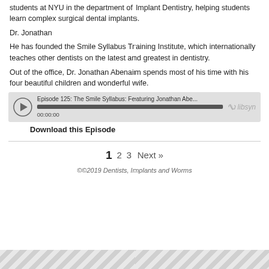students at NYU in the department of Implant Dentistry, helping students learn complex surgical dental implants.
Dr. Jonathan
He has founded the Smile Syllabus Training Institute, which internationally teaches other dentists on the latest and greatest in dentistry.
Out of the office, Dr. Jonathan Abenaim spends most of his time with his four beautiful children and wonderful wife.
[Figure (other): Audio player widget for Episode 125: The Smile Syllabus: Featuring Jonathan Abe... showing play button, progress bar at 00:00:00, and Libsyn logo]
Download this Episode
1  2  3  Next »
©©2019 Dentists, Implants and Worms